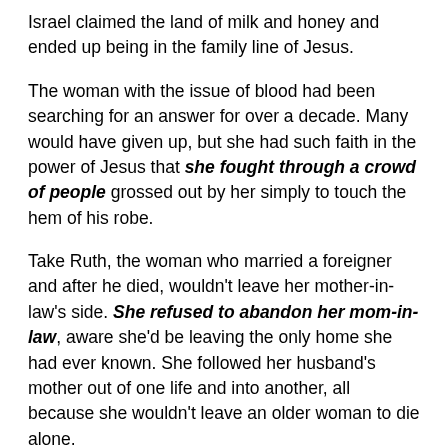Israel claimed the land of milk and honey and ended up being in the family line of Jesus.
The woman with the issue of blood had been searching for an answer for over a decade. Many would have given up, but she had such faith in the power of Jesus that she fought through a crowd of people grossed out by her simply to touch the hem of his robe.
Take Ruth, the woman who married a foreigner and after he died, wouldn't leave her mother-in-law's side. She refused to abandon her mom-in-law, aware she'd be leaving the only home she had ever known. She followed her husband's mother out of one life and into another, all because she wouldn't leave an older woman to die alone.
The woman at the well had gone through 5 husbands and was living with another man. She was so ashamed of herself that she would only go to the water well when no one else is there. But